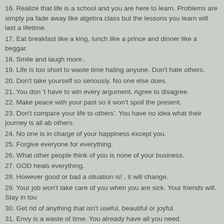16. Realize that life is a school and you are here to learn. Problems are simply pa fade away like algebra class but the lessons you learn will last a lifetime.
17. Eat breakfast like a king, lunch like a prince and dinner like a beggar.
18. Smile and laugh more..
19. Life is too short to waste time hating anyone. Don't hate others.
20. Don't take yourself so seriously. No one else does.
21. You don 't have to win every argument. Agree to disagree.
22. Make peace with your past so it won't spoil the present.
23. Don't compare your life to others'. You have no idea what their journey is all ab others.
24. No one is in charge of your happiness except you.
25. Forgive everyone for everything.
26. What other people think of you is none of your business.
27. GOD heals everything.
28. However good or bad a situation is! , it will change.
29. Your job won't take care of you when you are sick. Your friends will. Stay in tou
30. Get rid of anything that isn't useful, beautiful or joyful.
31. Envy is a waste of time. You already have all you need.
32. The best is yet to come.
33. No matter how you feel, get up, dress up and show up.
34. Do the right thing!
35. Call your family often.
36. Your Inner most is always happy. So, be happy.
37. Each day give something good to others.
38. Don't over do. Keep your limits.